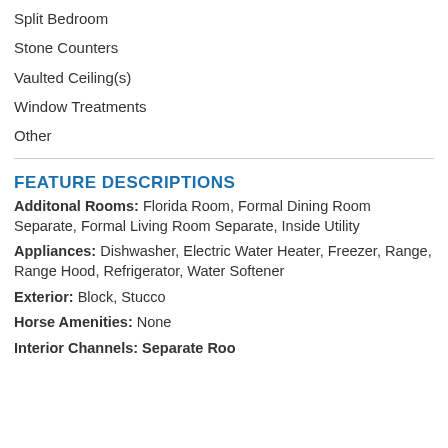Split Bedroom
Stone Counters
Vaulted Ceiling(s)
Window Treatments
Other
FEATURE DESCRIPTIONS
Additonal Rooms: Florida Room, Formal Dining Room Separate, Formal Living Room Separate, Inside Utility
Appliances: Dishwasher, Electric Water Heater, Freezer, Range, Range Hood, Refrigerator, Water Softener
Exterior: Block, Stucco
Horse Amenities: None
Interior Channels: Separate Rooms...